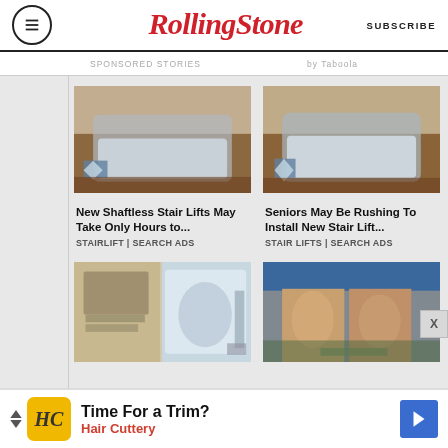RollingStone — SUBSCRIBE
SPONSORED STORIES   by Taboola
[Figure (photo): Stairlift chair on stairs, close-up photo]
New Shaftless Stair Lifts May Take Only Hours to... STAIRLIFT | SEARCH ADS
[Figure (photo): Stairlift chair on stairs, close-up photo]
Seniors May Be Rushing To Install New Stair Lift... STAIR LIFTS | SEARCH ADS
[Figure (photo): Bedroom with portable air conditioner unit]
[Figure (photo): Close-up of muscular legs of a person in blue shorts outdoors]
Time For a Trim? Hair Cuttery